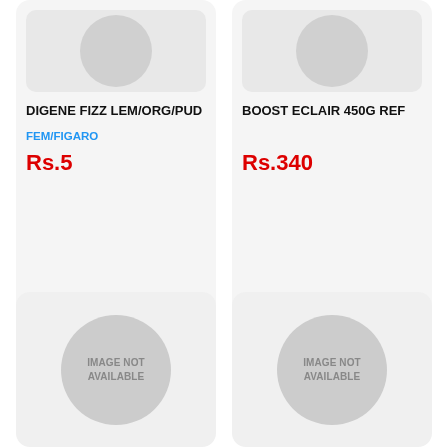[Figure (illustration): Product card for DIGENE FIZZ LEM/ORG/PUD with image placeholder circle at top (partially cropped), product name, brand FEM/FIGARO in blue, and price Rs.5 in red]
[Figure (illustration): Product card for BOOST ECLAIR 450G REF with image placeholder circle at top (partially cropped), product name, and price Rs.340 in red]
[Figure (illustration): Product card with IMAGE NOT AVAILABLE placeholder showing gray circle with text]
[Figure (illustration): Product card with IMAGE NOT AVAILABLE placeholder showing gray circle with text]